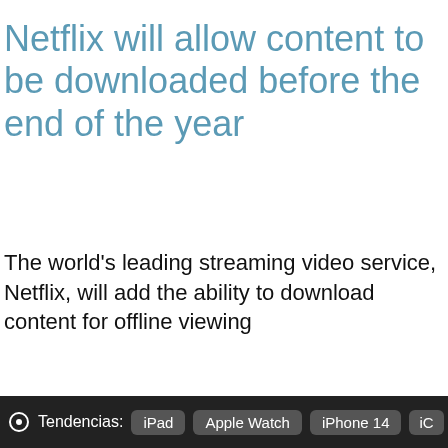Netflix will allow content to be downloaded before the end of the year
The world's leading streaming video service, Netflix, will add the ability to download content for offline viewing
Tendencias: iPad  Apple Watch  iPhone 14  iC